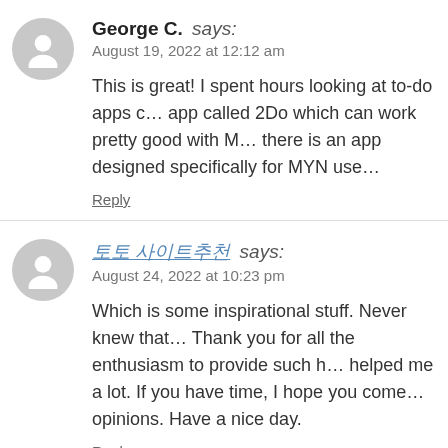George C. says: August 19, 2022 at 12:12 am
This is great! I spent hours looking at to-do apps called 2Do which can work pretty good with M... there is an app designed specifically for MYN use...
Reply
토토 사이트추천 says: August 24, 2022 at 10:23 pm
Which is some inspirational stuff. Never knew that... Thank you for all the enthusiasm to provide such h... helped me a lot. If you have time, I hope you come... opinions. Have a nice day.
Reply